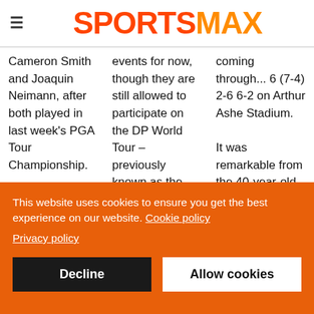SPORTSMAX
Cameron Smith and Joaquin Neimann, after both played in last week's PGA Tour Championship.

Smith had five birdies and two eagles, showing
events for now, though they are still allowed to participate on the DP World Tour – previously known as the European Tour – whose sanctions have
coming through... 6 (7-4) 2-6 6-2 on Arthur Ashe Stadium.

It was remarkable from the 40-year-old on court as she found an extra gear for the
This website uses cookies to ensure you get the best experience on our website. Cookie policy
Privacy policy
Decline
Allow cookies